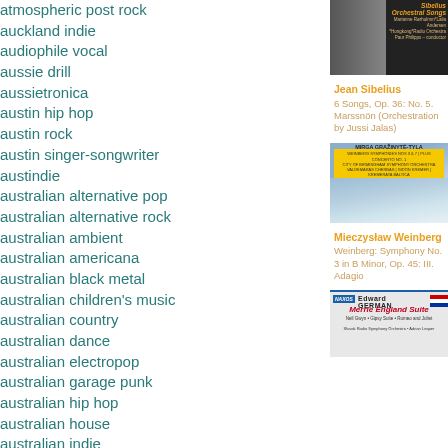atmospheric post rock
auckland indie
audiophile vocal
aussie drill
aussietronica
austin hip hop
austin rock
austin singer-songwriter
austindie
australian alternative pop
australian alternative rock
australian ambient
australian americana
australian black metal
australian children's music
australian country
australian dance
australian electropop
australian garage punk
australian hip hop
australian house
australian indie
australian indie folk
australian indie rock
australian indigenous
australian indigenous hip hop
[Figure (photo): Jean Sibelius Orchestral Songs album cover - dark photo of conductor with text overlay]
Jean Sibelius
6 Songs, Op. 36: No. 5. Marssnön (Orchestration by Jussi Jalas)
[Figure (photo): Mieczysław Weinberg symphony album cover - Deutsche Grammophon yellow label with landscape painting]
Mieczysław Weinberg
Weinberg: Symphony No. 3 in B Minor, Op. 45: III. Adagio
[Figure (photo): Edward German Merrie England Suite album cover - Naxos label with orchestra info]